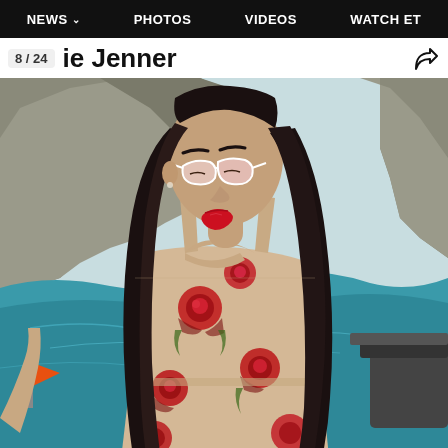NEWS  PHOTOS  VIDEOS  WATCH ET
8/24  Kylie Jenner
[Figure (photo): Kylie Jenner wearing a floral rose-print dress and white cat-eye sunglasses with red lips, standing near water with rocky cliffs in the background. An orange flag and a boat are partially visible. Another person's arm is visible on the left.]